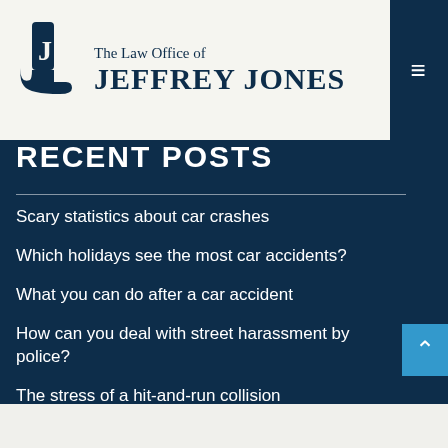The Law Office of JEFFREY JONES
RECENT POSTS
Scary statistics about car crashes
Which holidays see the most car accidents?
What you can do after a car accident
How can you deal with street harassment by police?
The stress of a hit-and-run collision